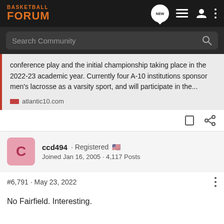BASKETBALL FORUM
Search Community
conference play and the initial championship taking place in the 2022-23 academic year. Currently four A-10 institutions sponsor men's lacrosse as a varsity sport, and will participate in the...
atlantic10.com
ccd494 · Registered
Joined Jan 16, 2005 · 4,117 Posts
#6,791 · May 23, 2022
No Fairfield. Interesting.